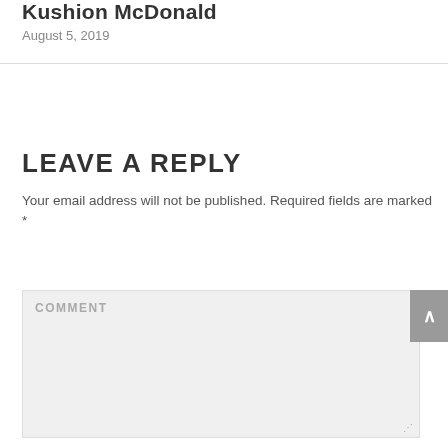Kushion McDonald
August 5, 2019
LEAVE A REPLY
Your email address will not be published. Required fields are marked *
COMMENT